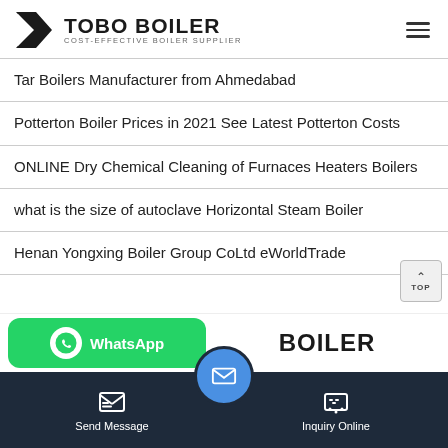TOBO BOILER — COST-EFFECTIVE BOILER SUPPLIER
Tar Boilers Manufacturer from Ahmedabad
Potterton Boiler Prices in 2021 See Latest Potterton Costs
ONLINE Dry Chemical Cleaning of Furnaces Heaters Boilers
what is the size of autoclave Horizontal Steam Boiler
Henan Yongxing Boiler Group CoLtd eWorldTrade
[Figure (screenshot): Bottom UI overlay showing WhatsApp button, BOILER logo, bottom navigation bar with Send Message and Inquiry Online buttons, and a central mail FAB button]